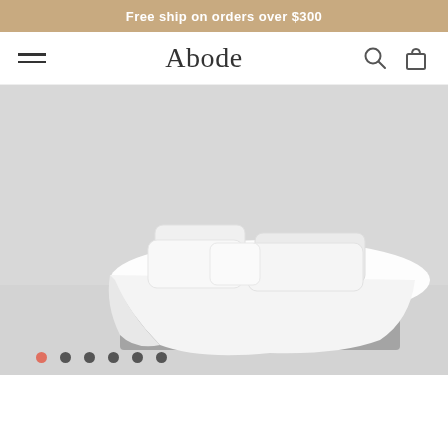Free ship on orders over $300
Abode
[Figure (photo): A neatly made bed with white sheets and multiple white pillows on a light grey background, product photography style.]
Image carousel navigation dots: active (coral/red), followed by 5 inactive (dark grey) dots